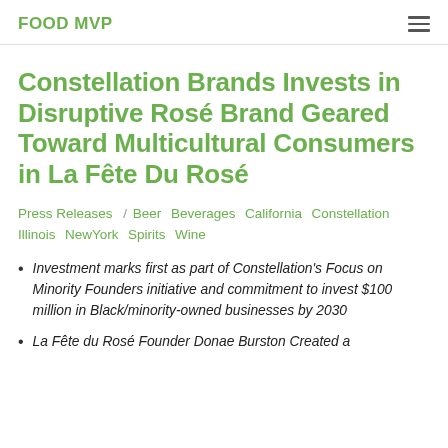FOOD MVP
Constellation Brands Invests in Disruptive Rosé Brand Geared Toward Multicultural Consumers in La Fête Du Rosé
Press Releases / Beer Beverages California Constellation Illinois NewYork Spirits Wine
Investment marks first as part of Constellation's Focus on Minority Founders initiative and commitment to invest $100 million in Black/minority-owned businesses by 2030
La Fête du Rosé Founder Donae Burston Created a